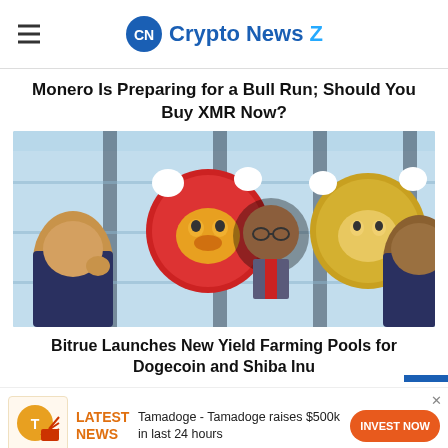CryptoNewsZ
Monero Is Preparing for a Bull Run; Should You Buy XMR Now?
[Figure (illustration): Comic-style illustration showing cartoon characters at a business meeting table with Shiba Inu, a person, and Dogecoin crypto coin characters. A play button overlay is visible in the center.]
Bitrue Launches New Yield Farming Pools for Dogecoin and Shiba Inu
LATEST NEWS — Tamadoge - Tamadoge raises $500k in last 24 hours — INVEST NOW